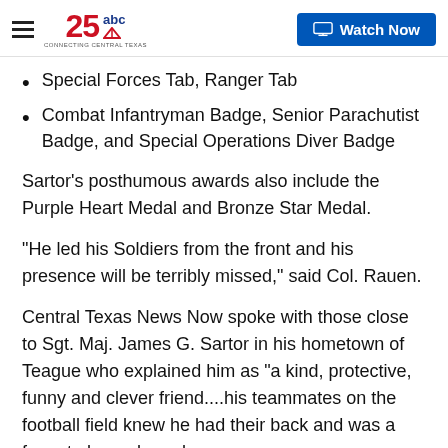25 ABC CONNECTING CENTRAL TEXAS — Watch Now
Special Forces Tab, Ranger Tab
Combat Infantryman Badge, Senior Parachutist Badge, and Special Operations Diver Badge
Sartor's posthumous awards also include the Purple Heart Medal and Bronze Star Medal.
“He led his Soldiers from the front and his presence will be terribly missed,” said Col. Rauen.
Central Texas News Now spoke with those close to Sgt. Maj. James G. Sartor in his hometown of Teague who explained him as "a kind, protective, funny and clever friend....his teammates on the football field knew he had their back and was a force to be reckoned